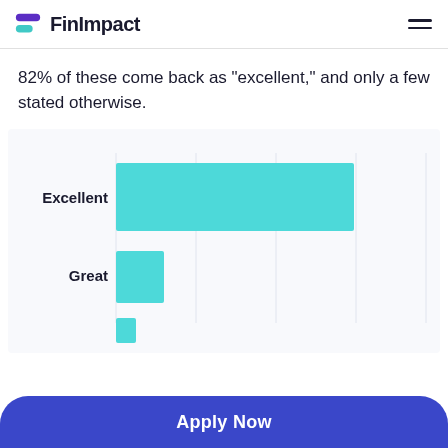FinImpact
82% of these come back as “excellent,” and only a few stated otherwise.
[Figure (bar-chart): ]
Apply Now